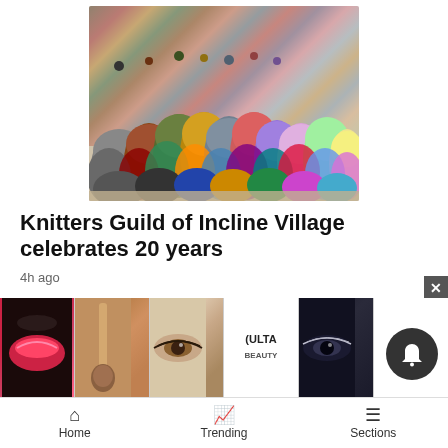[Figure (photo): A large display of colorful knitted hats/beanies arranged together, showing many different colors and patterns]
Knitters Guild of Incline Village celebrates 20 years
4h ago
Thousands attend inaugural Tahoe ————————
[Figure (photo): Small thumbnail image of second story]
[Figure (photo): Ulta Beauty advertisement banner with makeup imagery and SHOP NOW call to action]